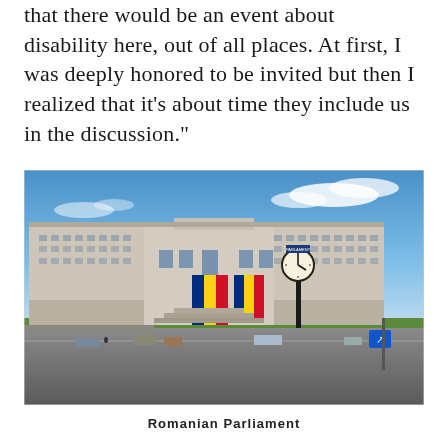that there would be an event about disability here, out of all places. At first, I was deeply honored to be invited but then I realized that it’s about time they include us in the discussion.”
[Figure (photo): Photograph of the Romanian Parliament building, a large neoclassical white structure, with a street clock in the foreground and the Romanian flag colors visible on the building facade.]
Romanian Parliament